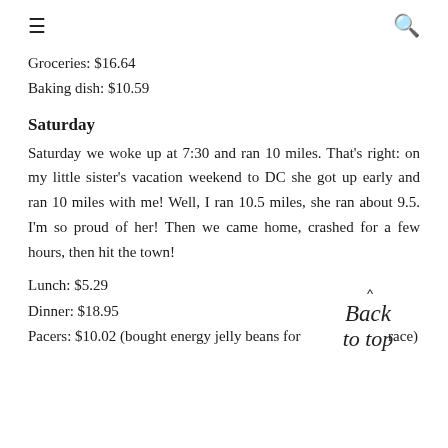≡  🔍
Groceries: $16.64
Baking dish: $10.59
Saturday
Saturday we woke up at 7:30 and ran 10 miles. That's right: on my little sister's vacation weekend to DC she got up early and ran 10 miles with me! Well, I ran 10.5 miles, she ran about 9.5. I'm so proud of her! Then we came home, crashed for a few hours, then hit the town!
Lunch: $5.29
Dinner: $18.95
Pacers: $10.02 (bought energy jelly beans for race)